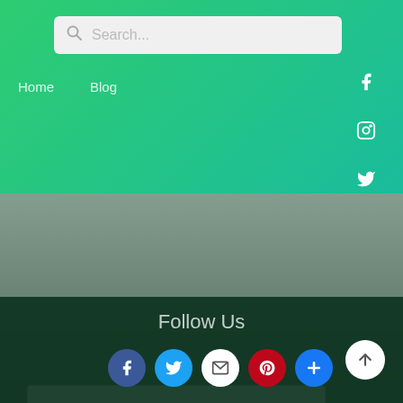[Figure (screenshot): Search bar with placeholder text 'Search...' on green gradient background]
Home   Blog
[Figure (infographic): Social media icons: Facebook, Instagram, Twitter on right side of green header]
[Figure (screenshot): Input field and Submit button on dark green background]
Follow Us
[Figure (infographic): Social share buttons: Facebook, Twitter, Email, Pinterest, Plus]